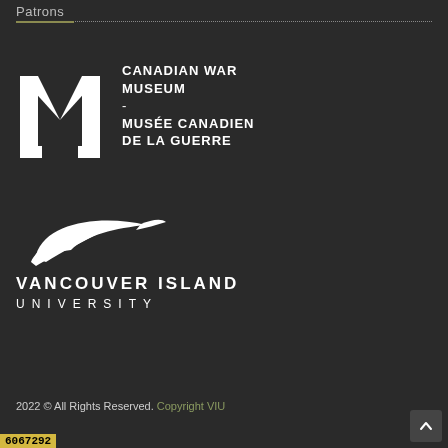Patrons
[Figure (logo): Canadian War Museum logo — stylized white M shape on dark background, with text: CANADIAN WAR MUSEUM - MUSÉE CANADIEN DE LA GUERRE]
[Figure (logo): Vancouver Island University logo — white bird/feather swoosh graphic above bold white text: VANCOUVER ISLAND UNIVERSITY]
2022 © All Rights Reserved.  Copyright VIU